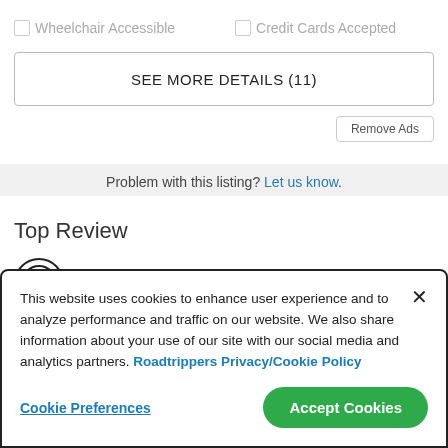Wheelchair Accessible
Credit Cards Accepted
SEE MORE DETAILS (11)
Remove Ads
Problem with this listing? Let us know.
Top Review
Official Description
At the Beach Bistro, first opened in 1993, has become one of...
This website uses cookies to enhance user experience and to analyze performance and traffic on our website. We also share information about your use of our site with our social media and analytics partners. Roadtrippers Privacy/Cookie Policy
Cookie Preferences
Accept Cookies